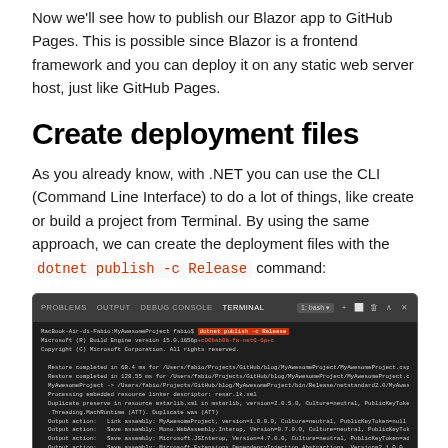Now we'll see how to publish our Blazor app to GitHub Pages. This is possible since Blazor is a frontend framework and you can deploy it on any static web server host, just like GitHub Pages.
Create deployment files
As you already know, with .NET you can use the CLI (Command Line Interface) to do a lot of things, like create or build a project from Terminal. By using the same approach, we can create the deployment files with the dotnet publish -c Release command:
[Figure (screenshot): Terminal window showing the output of running 'dotnet publish -c Release' command, with the command highlighted in a red box. The terminal output shows build engine version, restore completed messages, and various output action lines for saving assemblies.]